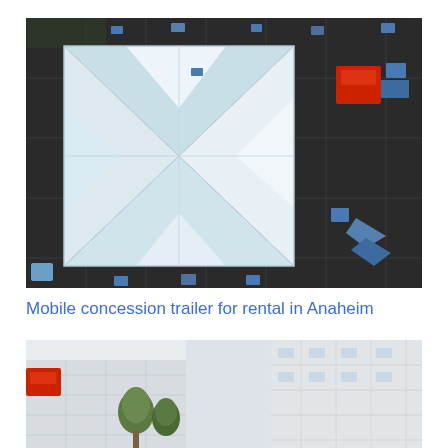[Figure (photo): Aerial drone view of a large white tent or canopy structure in a dark asphalt parking lot. The tent has a square shape with white fabric panels forming an X pattern from above. Various blue and other colored objects are scattered around the parking lot, along with a red vehicle visible in the upper right area.]
Mobile concession trailer for rental in Anaheim
[Figure (photo): Street-level photo of a building exterior with a white/light grey concrete or stucco facade. A red car is partially visible on the left side, and trees are visible in front of the building.]